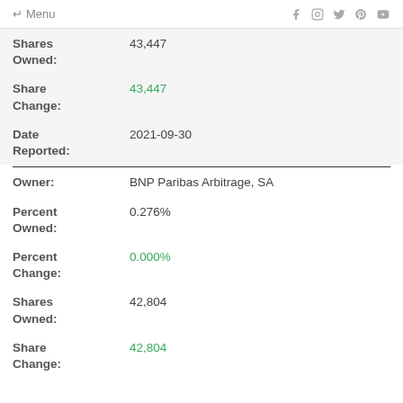← Menu
Shares Owned: 43,447
Share Change: 43,447
Date Reported: 2021-09-30
Owner: BNP Paribas Arbitrage, SA
Percent Owned: 0.276%
Percent Change: 0.000%
Shares Owned: 42,804
Share Change: 42,804